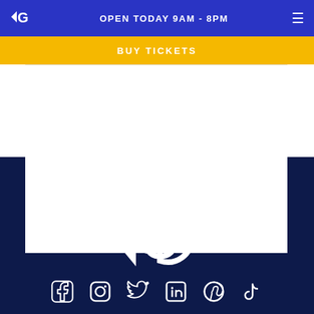OPEN TODAY 9AM - 8PM
BUY TICKETS
[Figure (logo): Fish-G brand logo (white, large) centered on dark navy background]
[Figure (infographic): Social media icons row: Facebook, Instagram, Twitter, LinkedIn, Pinterest, TikTok — all white on dark navy]